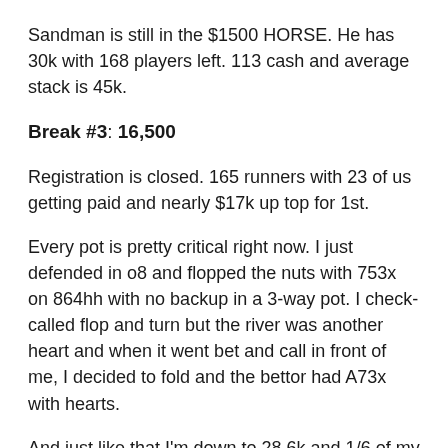Sandman is still in the $1500 HORSE. He has 30k with 168 players left. 113 cash and average stack is 45k.
Break #3: 16,500
Registration is closed. 165 runners with 23 of us getting paid and nearly $17k up top for 1st.
Every pot is pretty critical right now. I just defended in o8 and flopped the nuts with 753x on 864hh with no backup in a 3-way pot. I check-called flop and turn but the river was another heart and when it went bet and call in front of me, I decided to fold and the bettor had A73x with hearts.
And just like that I'm down to 28.6k and 1/6 of my stack is gone.
And Sandman just busted the HORSE shy of the money.